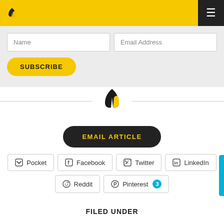[Figure (logo): Yellow navigation bar with black leaf logo on left and dark hamburger menu button on right]
Name
Email Address
SUBSCRIBE
[Figure (logo): Black and yellow leaf logo centered between two horizontal divider lines]
EMAIL ARTICLE
Pocket
Facebook
Twitter
LinkedIn
Reddit
Pinterest 3
FILED UNDER